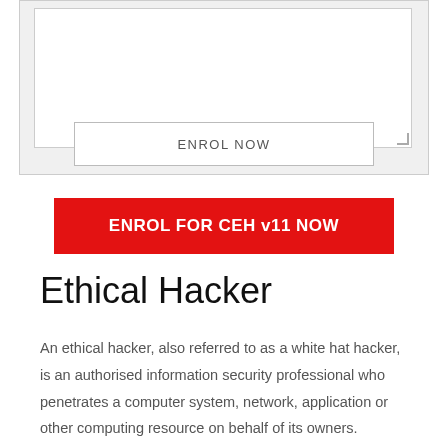[Figure (screenshot): A grey form area with a white textarea input box and resize handle in the bottom-right corner]
ENROL NOW
ENROL FOR CEH v11 NOW
Ethical Hacker
An ethical hacker, also referred to as a white hat hacker, is an authorised information security professional who penetrates a computer system, network, application or other computing resource on behalf of its owners.